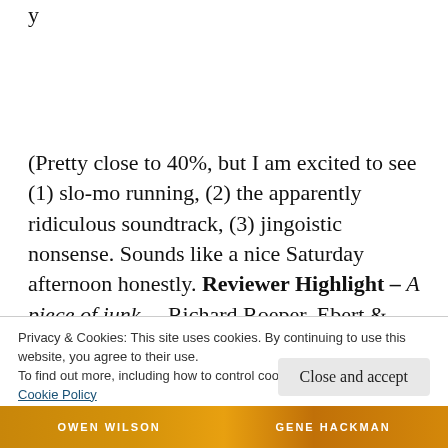y
(Pretty close to 40%, but I am excited to see (1) slo-mo running, (2) the apparently ridiculous soundtrack, (3) jingoistic nonsense. Sounds like a nice Saturday afternoon honestly. Reviewer Highlight – A piece of junk. – Richard Roeper, Ebert & Roeper; I just love how terse it
Privacy & Cookies: This site uses cookies. By continuing to use this website, you agree to their use.
To find out more, including how to control cookies, see here:
Cookie Policy
Close and accept
[Figure (photo): Bottom portion of a movie poster showing text 'OWEN WILSON' and 'GENE HACKMAN' in white uppercase letters on an orange/fire background]